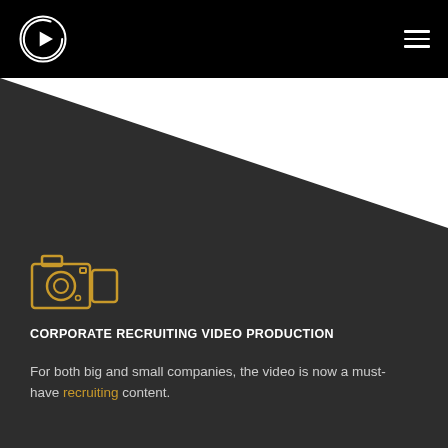Corporate Recruiting Video Production – navigation header with logo and hamburger menu
[Figure (illustration): Gold/yellow outline video camera icon on dark background]
CORPORATE RECRUITING VIDEO PRODUCTION
For both big and small companies, the video is now a must-have recruiting content.